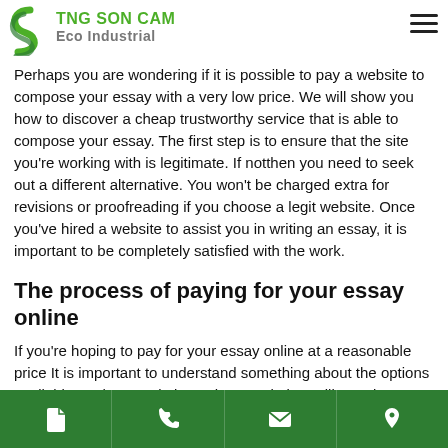TNG SON CAM | Eco Industrial
Perhaps you are wondering if it is possible to pay a website to compose your essay with a very low price. We will show you how to discover a cheap trustworthy service that is able to compose your essay. The first step is to ensure that the site you're working with is legitimate. If notthen you need to seek out a different alternative. You won't be charged extra for revisions or proofreading if you choose a legit website. Once you've hired a website to assist you in writing an essay, it is important to be completely satisfied with the work.
The process of paying for your essay online
If you're hoping to pay for your essay online at a reasonable price It is important to understand something about the options available on these websites. These websites will permit users to stay in touch with your writer as well as provide regularly updated information. Ideally, these sites will allow you to contact the writer directly or through the support team. Additionally, you can engage an ESL writer even if uncertain about hiring one.